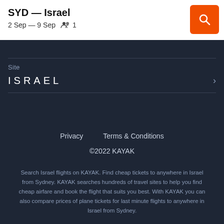SYD — Israel
2 Sep — 9 Sep  👥 1
[Figure (other): Orange search button with magnifying glass icon]
Site
ISRAEL
Privacy   Terms & Conditions
©2022 KAYAK
Search Israel flights on KAYAK. Find cheap tickets to anywhere in Israel from Sydney. KAYAK searches hundreds of travel sites to help you find cheap airfare and book the flight that suits you best. With KAYAK you can also compare prices of plane tickets for last minute flights to anywhere in Israel from Sydney.